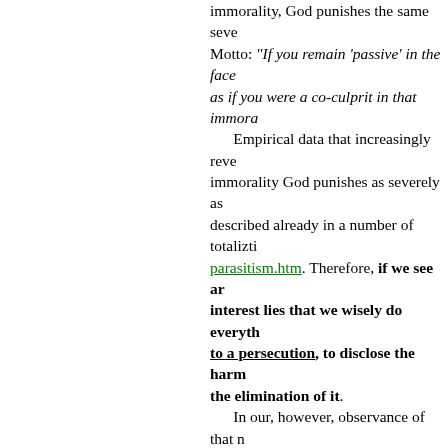immorality, God punishes the same seve Motto: "If you remain 'passive' in the face as if you were a co-culprit in that immora Empirical data that increasingly reve immorality God punishes as severely as described already in a number of totalizti parasitism.htm. Therefore, if we see ar interest lies that we wisely do everyth to a persecution, to disclose the harm the elimination of it. In our, however, observance of that have an obligation to take only such actio an "aggression", and hence do NOT ex previously lived in peace. The point is, th However, if we are first who took (initiate consequence of this action would be tha then even if our action would be used to such it would be an immoral action. Hen harming ourselves, is not at all what the in our power" to prevent someone's i over actions, which do NOT represent receiving returned suffering, persecut have the duty to combat, is already itself